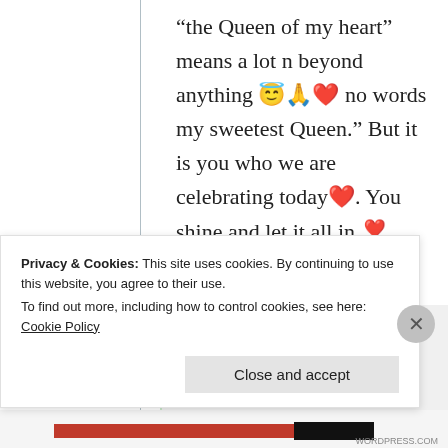“the Queen of my heart” means a lot n beyond anything 😇🙏❤️ no words my sweetest Queen.” But it is you who we are celebrating today❤️. You shine and let it all in ❣️
★ Liked by 2 people
Privacy & Cookies: This site uses cookies. By continuing to use this website, you agree to their use.
To find out more, including how to control cookies, see here: Cookie Policy